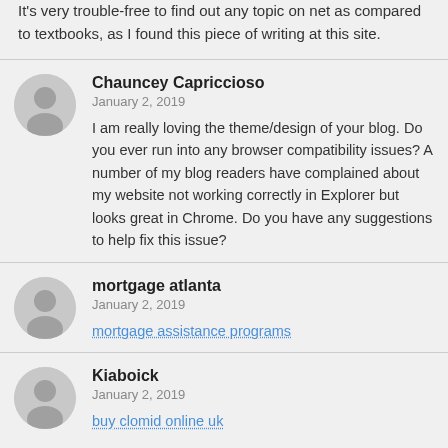It's very trouble-free to find out any topic on net as compared to textbooks, as I found this piece of writing at this site.
Chauncey Capriccioso
January 2, 2019
I am really loving the theme/design of your blog. Do you ever run into any browser compatibility issues? A number of my blog readers have complained about my website not working correctly in Explorer but looks great in Chrome. Do you have any suggestions to help fix this issue?
mortgage atlanta
January 2, 2019
mortgage assistance programs
Kiaboick
January 2, 2019
buy clomid online uk